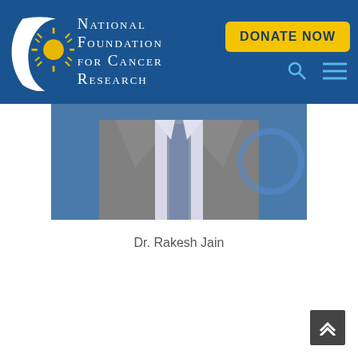[Figure (logo): National Foundation for Cancer Research logo with white crescent moon and yellow starburst on dark blue background, with organization name text]
[Figure (photo): Partial photo of Dr. Rakesh Jain showing torso in grey suit with patterned tie, blue background visible]
Dr. Rakesh Jain